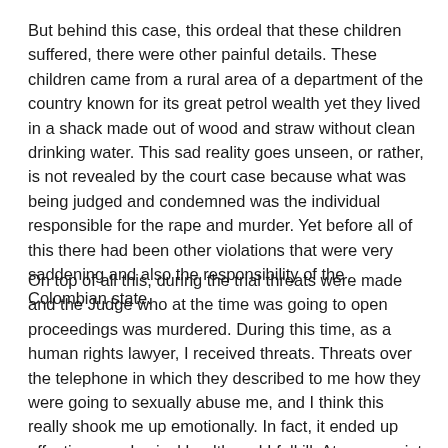But behind this case, this ordeal that these children suffered, there were other painful details. These children came from a rural area of a department of the country known for its great petrol wealth yet they lived in a shack made out of wood and straw without clean drinking water. This sad reality goes unseen, or rather, is not revealed by the court case because what was being judged and condemned was the individual responsible for the rape and murder. Yet before all of this there had been other violations that were very saddening and also the responsibility of the Colombian state.
On top of all this, during the trial threats were made and the Judge who at the time was going to open proceedings was murdered. During this time, as a human rights lawyer, I received threats. Threats over the telephone in which they described to me how they were going to sexually abuse me, and I think this really shook me up emotionally. In fact, it ended up affecting my physical health and I fell ill. At some point my